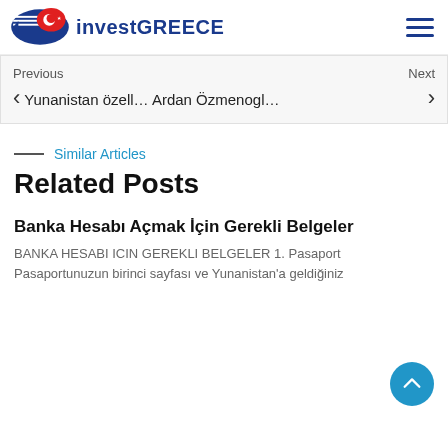investGREECE
Previous  Yunanistan özell…  Ardan Özmenogl…  Next
Similar Articles
Related Posts
Banka Hesabı Açmak İçin Gerekli Belgeler
BANKA HESABI ICIN GEREKLI BELGELER 1. Pasaport Pasaportunuzun birinci sayfası ve Yunanistan'a geldiğiniz